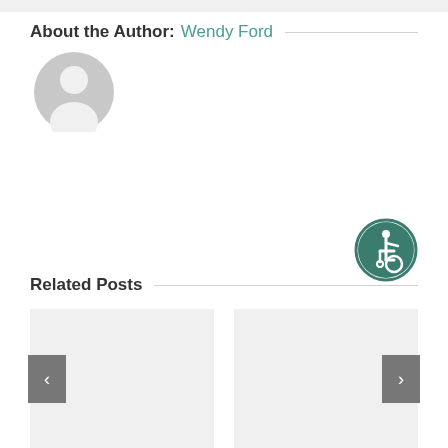About the Author: Wendy Ford
[Figure (photo): Default user avatar - grey circle with white silhouette of a person]
[Figure (logo): Accessibility icon - teal/dark green circular badge with wheelchair user symbol]
Related Posts
[Figure (photo): Related post thumbnail placeholder - light grey rectangle with left navigation arrow button]
[Figure (photo): Related post thumbnail placeholder - light grey rectangle with right navigation arrow button]